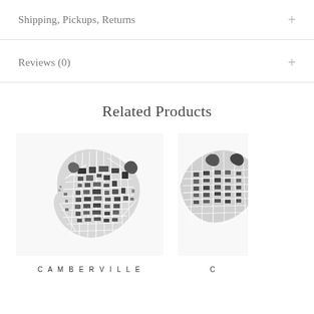Shipping, Pickups, Returns
Reviews (0)
Related Products
[Figure (map): Black and white street map of Camberville city area, showing dense urban road network and building footprints]
C A M B E R V I L L E
[Figure (map): Partial black and white street map of another city, partially cropped at right edge]